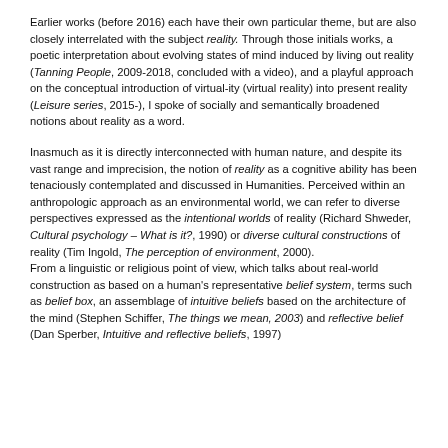Earlier works (before 2016) each have their own particular theme, but are also closely interrelated with the subject reality. Through those initials works, a poetic interpretation about evolving states of mind induced by living out reality (Tanning People, 2009-2018, concluded with a video), and a playful approach on the conceptual introduction of virtual-ity (virtual reality) into present reality (Leisure series, 2015-), I spoke of socially and semantically broadened notions about reality as a word.
Inasmuch as it is directly interconnected with human nature, and despite its vast range and imprecision, the notion of reality as a cognitive ability has been tenaciously contemplated and discussed in Humanities. Perceived within an anthropologic approach as an environmental world, we can refer to diverse perspectives expressed as the intentional worlds of reality (Richard Shweder, Cultural psychology – What is it?, 1990) or diverse cultural constructions of reality (Tim Ingold, The perception of environment, 2000). From a linguistic or religious point of view, which talks about real-world construction as based on a human's representative belief system, terms such as belief box, an assemblage of intuitive beliefs based on the architecture of the mind (Stephen Schiffer, The things we mean, 2003) and reflective belief (Dan Sperber, Intuitive and reflective beliefs, 1997)